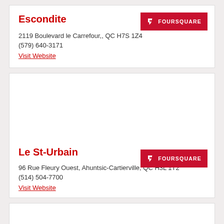Escondite
2119 Boulevard le Carrefour,, QC H7S 1Z4
(579) 640-3171
Visit Website
Le St-Urbain
96 Rue Fleury Ouest, Ahuntsic-Cartierville, QC H3L 1T2
(514) 504-7700
Visit Website